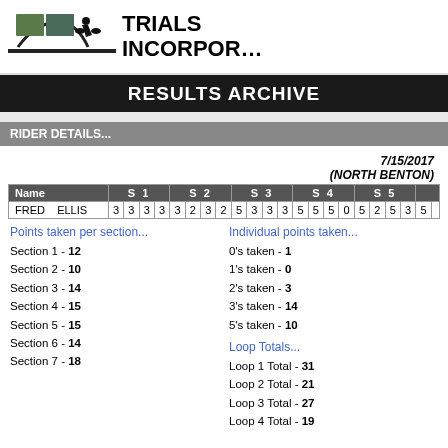[Figure (logo): Trials Incorporated logo with motorcycle trials imagery and stylized track graphic]
RESULTS ARCHIVE
RIDER DETAILS...
7/15/2017 (NORTH BENTON)
| Name | S 1 | S 2 | S 3 | S 4 | S 5 |
| --- | --- | --- | --- | --- | --- |
| FRED  ELLIS | 3 3 3 3 | 3 2 3 2 | 5 3 3 3 | 5 5 5 0 | 5 2 5 3 |
Points taken per section...
Section 1 - 12
Section 2 - 10
Section 3 - 14
Section 4 - 15
Section 5 - 15
Section 6 - 14
Section 7 - 18
Individual points taken...
0's taken - 1
1's taken - 0
2's taken - 3
3's taken - 14
5's taken - 10
Loop Totals...
Loop 1 Total - 31
Loop 2 Total - 21
Loop 3 Total - 27
Loop 4 Total - 19